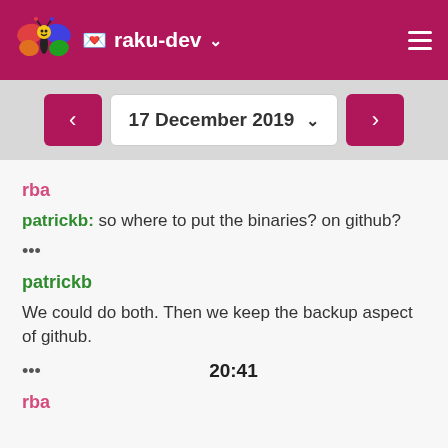raku-dev
17 December 2019
rba
patrickb: so where to put the binaries? on github?
•••
patrickb
We could do both. Then we keep the backup aspect of github.
••• 20:41
rba